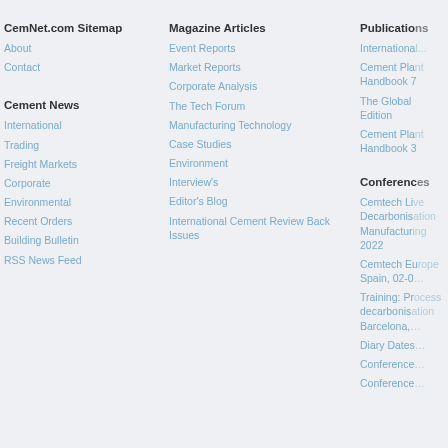CemNet.com Sitemap
About
Contact
Cement News
International
Trading
Freight Markets
Corporate
Environmental
Recent Orders
Building Bulletin
RSS News Feed
Magazine Articles
Event Reports
Market Reports
Corporate Analysis
The Tech Forum
Manufacturing Technology
Case Studies
Environment
Interview's
Editor's Blog
International Cement Review Back Issues
Publications
International...
Cement Plant Handbook 7
The Global Edition
Cement Plant Handbook 3
Conferences
Cemtech Live Decarbonisation Manufacturing 2022
Cemtech Europe Spain, 02-0...
Training: Process decarbonisation Barcelona,...
Diary Dates
Conference...
Conference...